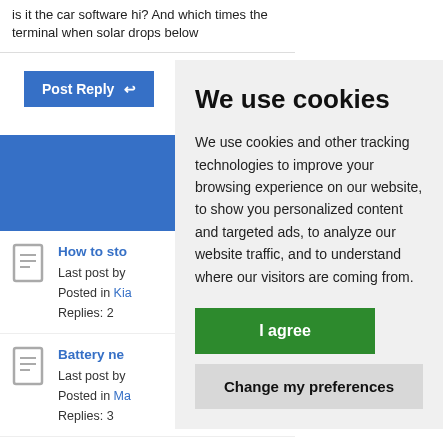is it the car software hi? And which times the terminal when solar drops below
Post Reply
How to sto
Last post by
Posted in Kia
Replies: 2
Battery ne
Last post by
Posted in Ma
Replies: 3
Niro self cl
Last post by
We use cookies
We use cookies and other tracking technologies to improve your browsing experience on our website, to show you personalized content and targeted ads, to analyze our website traffic, and to understand where our visitors are coming from.
I agree
Change my preferences